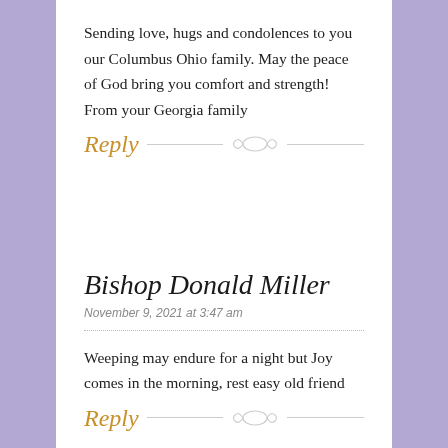Sending love, hugs and condolences to you our Columbus Ohio family. May the peace of God bring you comfort and strength!
From your Georgia family
Reply
Bishop Donald Miller
November 9, 2021 at 3:47 am
Weeping may endure for a night but Joy comes in the morning, rest easy old friend
Reply